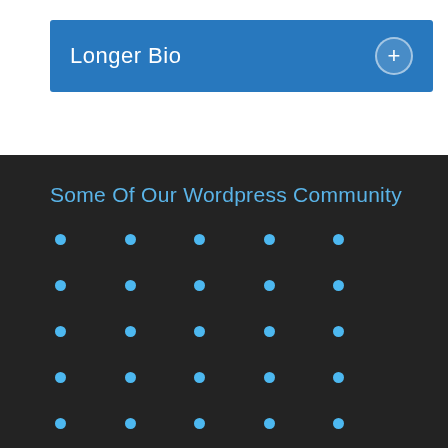Longer Bio
Some Of Our Wordpress Community
[Figure (infographic): A 5x5 grid of blue circular dots on a dark background, representing WordPress community members]